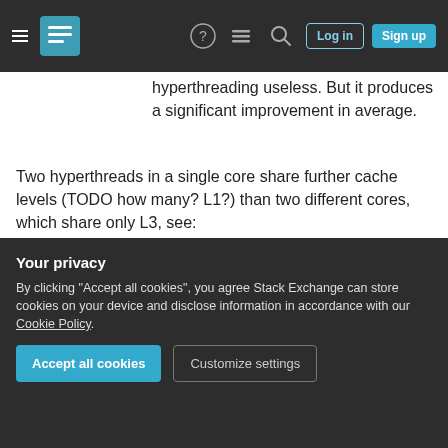Stack Exchange navigation bar with Log in and Sign up buttons
hyperthreading useless. But it produces a significant improvement in average.
Two hyperthreads in a single core share further cache levels (TODO how many? L1?) than two different cores, which share only L3, see:
https://stackoverflow.com/questions/4802565/multiple-threads-and-cpu-cache/54018751#54018751
https://stackoverflow.com/questions/944966/ho
Your privacy
By clicking "Accept all cookies", you agree Stack Exchange can store cookies on your device and disclose information in accordance with our Cookie Policy.
Accept all cookies | Customize settings
/proc/cpuinfo shows the 1 processors, even though in the box 2 cores with 2 hyperthreads each